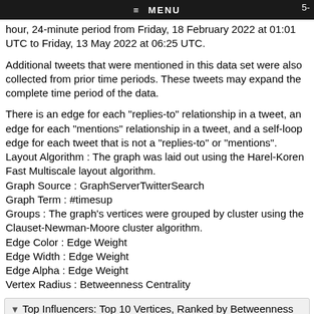≡ MENU  5-
hour, 24-minute period from Friday, 18 February 2022 at 01:01 UTC to Friday, 13 May 2022 at 06:25 UTC.
Additional tweets that were mentioned in this data set were also collected from prior time periods. These tweets may expand the complete time period of the data.
There is an edge for each "replies-to" relationship in a tweet, an edge for each "mentions" relationship in a tweet, and a self-loop edge for each tweet that is not a "replies-to" or "mentions".
Layout Algorithm : The graph was laid out using the Harel-Koren Fast Multiscale layout algorithm.
Graph Source : GraphServerTwitterSearch
Graph Term : #timesup
Groups : The graph's vertices were grouped by cluster using the Clauset-Newman-Moore cluster algorithm.
Edge Color : Edge Weight
Edge Width : Edge Weight
Edge Alpha : Edge Weight
Vertex Radius : Betweenness Centrality
▼ Top Influencers: Top 10 Vertices, Ranked by Betweenness Centrality
@thic0499154500